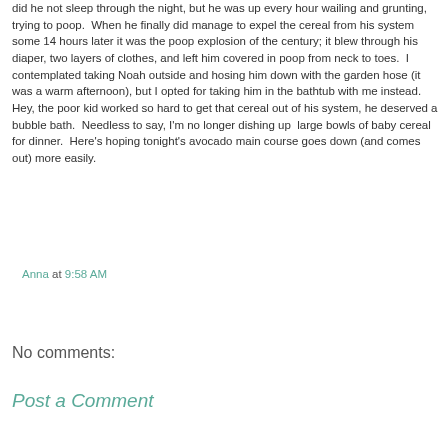did he not sleep through the night, but he was up every hour wailing and grunting, trying to poop.  When he finally did manage to expel the cereal from his system some 14 hours later it was the poop explosion of the century; it blew through his diaper, two layers of clothes, and left him covered in poop from neck to toes.  I contemplated taking Noah outside and hosing him down with the garden hose (it was a warm afternoon), but I opted for taking him in the bathtub with me instead. Hey, the poor kid worked so hard to get that cereal out of his system, he deserved a bubble bath.  Needless to say, I'm no longer dishing up  large bowls of baby cereal for dinner.  Here's hoping tonight's avocado main course goes down (and comes out) more easily.
Anna at 9:58 AM
Share
No comments:
Post a Comment